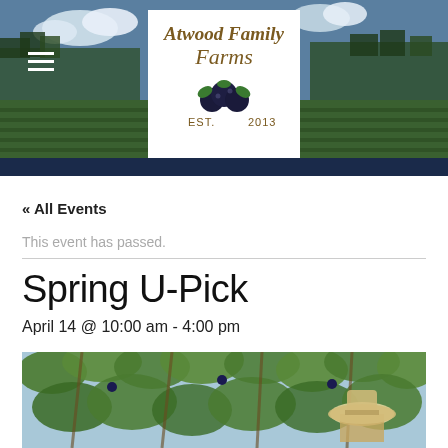[Figure (photo): Atwood Family Farms website header with farm field landscape photo and logo]
« All Events
This event has passed.
Spring U-Pick
April 14 @ 10:00 am - 4:00 pm
[Figure (photo): Person wearing a hat picking blueberries among green leafy branches]